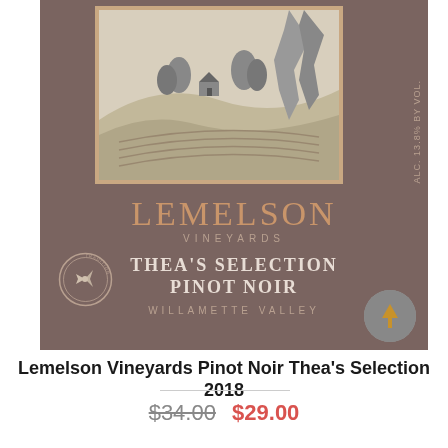[Figure (photo): Wine bottle label for Lemelson Vineyards Thea's Selection Pinot Noir, Willamette Valley. Brown/taupe background with a detailed etching illustration of vineyard rolling hills and a farmhouse at top. Large copper/gold 'LEMELSON' text, 'VINEYARDS' below, then 'THEA'S SELECTION PINOT NOIR' in white serif bold, 'WILLAMETTE VALLEY' in small caps below. Small circular emblem at lower left, 'ALC. 13.8% BY VOL.' text vertically on right side. A gray circular button with upward arrow overlaps the bottom-right corner.]
Lemelson Vineyards Pinot Noir Thea's Selection 2018
$34.00  $29.00